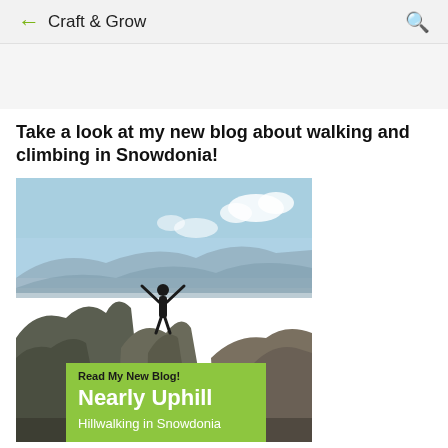← Craft & Grow 🔍
[Figure (other): Grey advertisement banner placeholder]
Take a look at my new blog about walking and climbing in Snowdonia!
[Figure (photo): Person standing triumphantly with arms raised on a mountain peak in Snowdonia with valley and blue sky in background. Overlay box at bottom reads: 'Read My New Blog! Nearly Uphill — Hillwalking in Snowdonia']